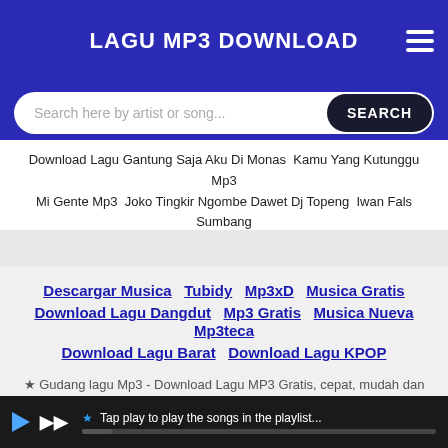LAGU MP3 DOWNLOAD
Search here by artist or song...
Download Lagu Gantung Saja Aku Di Monas  Kamu Yang Kutunggu Mp3  Mi Gente Mp3  Joko Tingkir Ngombe Dawet Dj Topeng  Iwan Fals Sumbang  Butiran Debu X Pesan Terakhir
Descargar Musica  Tubidy  Mp3xD  Musica Gratis  Download Lagu Dangdut  Mp3 Gratis  Musica Nueva  Mp3teca  Download Lagu Barat  Download Lagu KPOP  Download Lagu Surat Cinta Untuk Starla
★ Gudang lagu Mp3 - Download Lagu MP3 Gratis, cepat, mudah dan sangat stabil. Download Lagu Terbaru 2021, Gudang Lagu Mp3 Gratis Terbaik 2021. Gudang musik, Free download mp3 Indonesia.
★ Tap play to play the songs in the playlist...